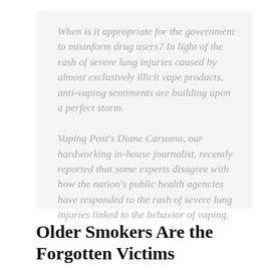When is it appropriate for the government to misinform drug users? In light of the rash of severe lung injuries caused by almost exclusively illicit vape products, anti-vaping sentiments are building upon a perfect storm.
Vaping Post's Diane Caruana, our hardworking in-house journalist, recently reported that some experts disagree with how the nation's public health agencies have responded to the rash of severe lung injuries linked to the behavior of vaping.
Older Smokers Are the Forgotten Victims